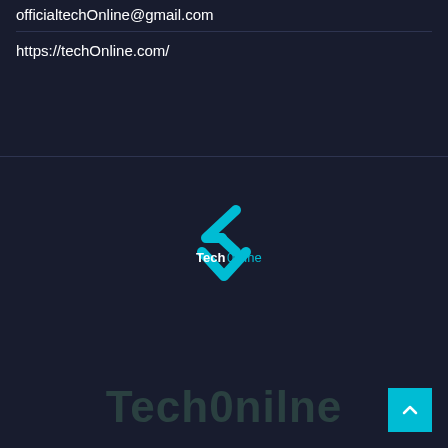officialtechOnline@gmail.com
https://techOnline.com/
[Figure (logo): Tech0nline logo with cyan double-chevron/checkmark icon above and below the text 'Tech' in white and '0nline' in cyan]
Tech0nilne
[Figure (other): Cyan scroll-to-top button with upward arrow in bottom right corner]